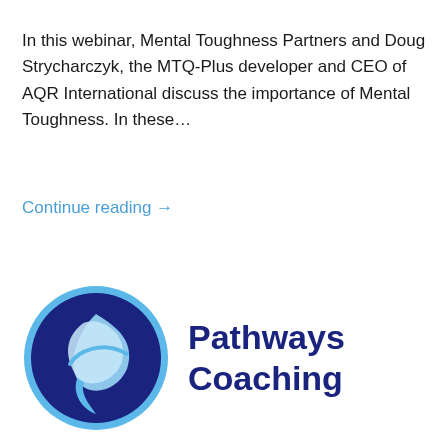In this webinar, Mental Toughness Partners and Doug Strycharczyk, the MTQ-Plus developer and CEO of AQR International discuss the importance of Mental Toughness. In these…
Continue reading →
[Figure (logo): Pathways Coaching logo — a dark navy blue circle with a stylized light blue leaf/flame shape inside, outlined in sky blue. To the right, the text 'Pathways Coaching' in dark navy bold sans-serif font.]